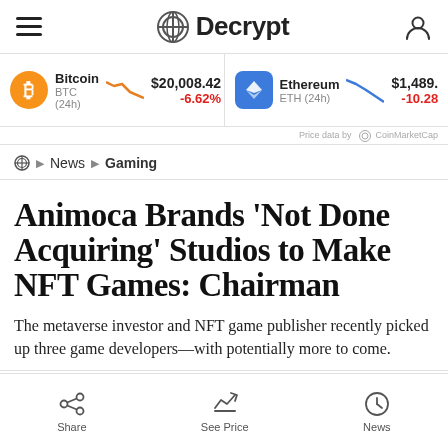Decrypt
Bitcoin BTC (24h) $20,008.42 -6.62% Ethereum ETH (24h) $1,489.5 -10.28
Price data by CoinMarketCap
News › Gaming
Animoca Brands 'Not Done Acquiring' Studios to Make NFT Games: Chairman
The metaverse investor and NFT game publisher recently picked up three game developers—with potentially more to come.
Share  See Price  News